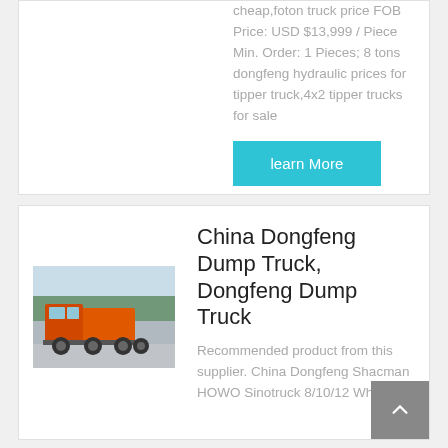cheap,foton truck price FOB Price: USD $13,999 / Piece Min. Order: 1 Pieces; 8 tons dongfeng hydraulic prices for tipper truck,4x2 tipper trucks for sale
learn More
[Figure (photo): Orange Dongfeng dump truck parked outdoors with trees in background]
China Dongfeng Dump Truck, Dongfeng Dump Truck
Recommended product from this supplier. China Dongfeng Shacman HOWO Sinotruck 8/10/12 Wheels